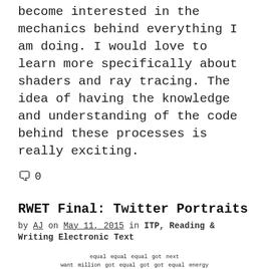become interested in the mechanics behind everything I am doing. I would love to learn more specifically about shaders and ray tracing. The idea of having the knowledge and understanding of the code behind these processes is really exciting.
💬 0
RWET Final: Twitter Portraits
by AJ on May 11, 2015 in ITP, Reading & Writing Electronic Text
[Figure (other): A Twitter portrait text cloud made up of words arranged in a portrait shape using monospace text, words include: equal, want, tune, got, president, fighting, check, americans, betterwithobamcare, people, next, read, million, energy, weve, pay, high, another, every, care, etc.]